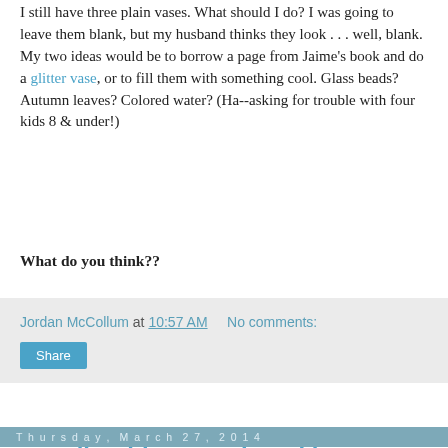I still have three plain vases. What should I do? I was going to leave them blank, but my husband thinks they look . . . well, blank. My two ideas would be to borrow a page from Jaime's book and do a glitter vase, or to fill them with something cool. Glass beads? Autumn leaves? Colored water? (Ha--asking for trouble with four kids 8 & under!)
What do you think??
Jordan McCollum at 10:57 AM   No comments:
Share
Thursday, March 27, 2014
Hawaiin Shirt to A-Line Skirt
I love how my title sounded like a line from a poem. Good morning! Does anyone have some fun plans for the weekend? We're travelling some next week because it's spring break and I.am.so.excited. This is the first "kid vacation" we're taking and I can't wait to see PB's face when